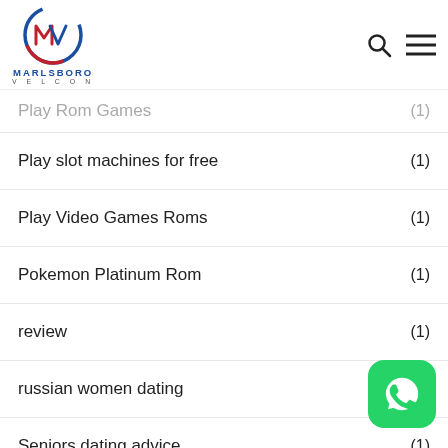Marlsboro Velcon logo with search and menu icons
Play Rom Games (1)
Play slot machines for free (1)
Play Video Games Roms (1)
Pokemon Platinum Rom (1)
review (1)
russian women dating (1)
Seniors dating advice (1)
Seniors Dating Tips
Seniors Online Dating Advice (1)
[Figure (logo): WhatsApp green rounded square icon button in bottom right corner]